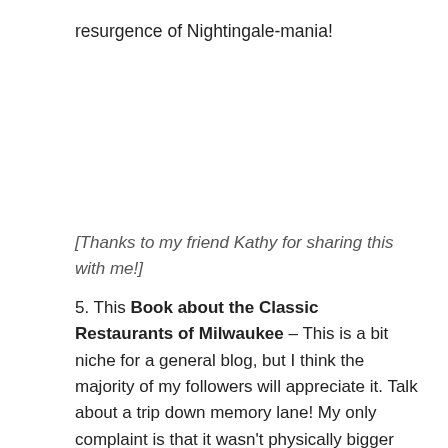resurgence of Nightingale-mania!
[Thanks to my friend Kathy for sharing this with me!]
5. This Book about the Classic Restaurants of Milwaukee – This is a bit niche for a general blog, but I think the majority of my followers will appreciate it. Talk about a trip down memory lane! My only complaint is that it wasn't physically bigger (it's only 6" x 9") because I wish that the photos were larger and frankly I'd like to have seen more restaurants included. But it's an Arcadia Publishing book and this is the standard size for the